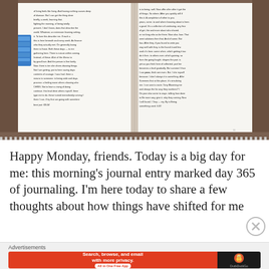[Figure (photo): Open journal/notebook with handwritten entries on both pages. A blue binder clip is attached to the left side. Pages show dense handwriting in black ink. The notebook rests on a brown leather or wooden surface.]
Happy Monday, friends. Today is a big day for me: this morning's journal entry marked day 365 of journaling. I'm here today to share a few thoughts about how things have shifted for me
Advertisements
[Figure (infographic): DuckDuckGo advertisement banner: orange/red left section with text 'Search, browse, and email with more privacy. All in One Free App' and dark right section with DuckDuckGo duck logo and 'DuckDuckGo' text.]